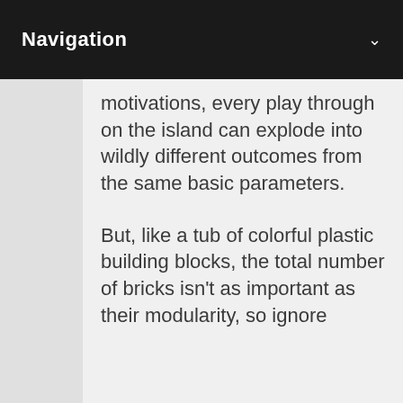Navigation
motivations, every play through on the island can explode into wildly different outcomes from the same basic parameters.
But, like a tub of colorful plastic building blocks, the total number of bricks isn't as important as their modularity, so ignore